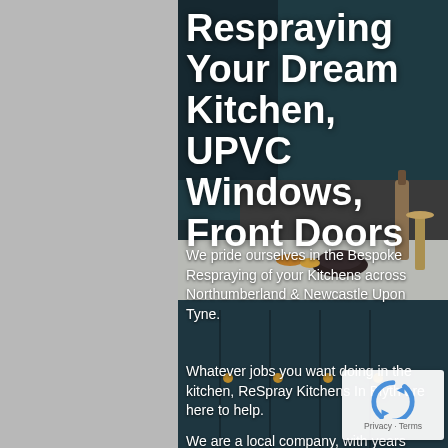[Figure (photo): Dark moody kitchen interior with teal/navy cabinets, white marble countertop, brass hardware, and decorative items including bowls, bottles and a candlestick. Dimly lit background.]
Respraying Your Dream Kitchen, UPVC Windows, Front Doors
We pride ourselves in the Bespoke Respraying of your Kitchens across Northumberland & Newcastle Upon Tyne.
Whatever jobs you want doing in the kitchen, ReSpray Kitchens In Blyth are here to help.
We are a local company, with years